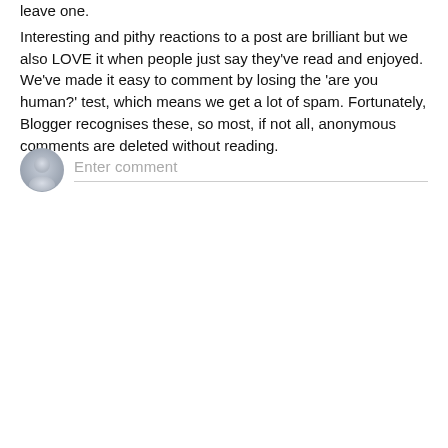leave one. Interesting and pithy reactions to a post are brilliant but we also LOVE it when people just say they've read and enjoyed. We've made it easy to comment by losing the 'are you human?' test, which means we get a lot of spam. Fortunately, Blogger recognises these, so most, if not all, anonymous comments are deleted without reading.
[Figure (other): User avatar icon (grey silhouette of a person) next to an 'Enter comment' input field with a grey underline]